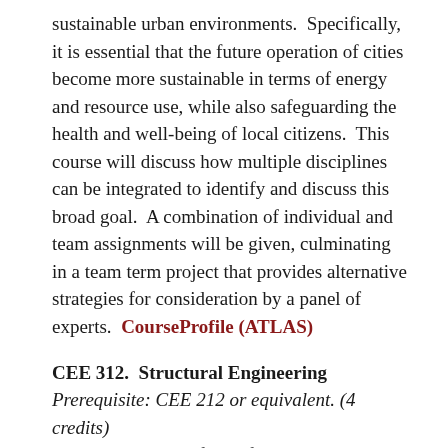sustainable urban environments. Specifically, it is essential that the future operation of cities become more sustainable in terms of energy and resource use, while also safeguarding the health and well-being of local citizens. This course will discuss how multiple disciplines can be integrated to identify and discuss this broad goal. A combination of individual and team assignments will be given, culminating in a team term project that provides alternative strategies for consideration by a panel of experts. CourseProfile (ATLAS)
CEE 312. Structural Engineering
Prerequisite: CEE 212 or equivalent. (4 credits) Introduction to the field of structural engineering. Discussion of structural analysis techniques and concepts such as virtual work, flexibility method, stiffness method, influence